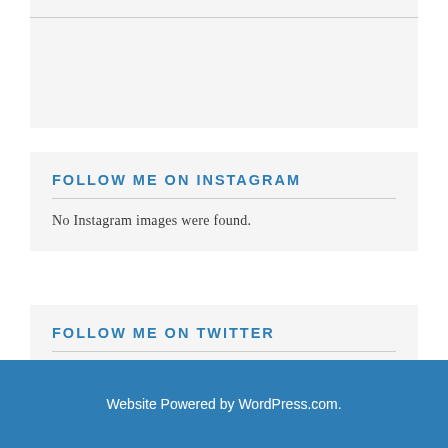FOLLOW ME ON INSTAGRAM
No Instagram images were found.
FOLLOW ME ON TWITTER
My Tweets
Website Powered by WordPress.com.